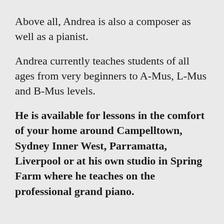Above all, Andrea is also a composer as well as a pianist.
Andrea currently teaches students of all ages from very beginners to A-Mus, L-Mus and B-Mus levels.
He is available for lessons in the comfort of your home around Campelltown, Sydney Inner West, Parramatta, Liverpool or at his own studio in Spring Farm where he teaches on the professional grand piano.